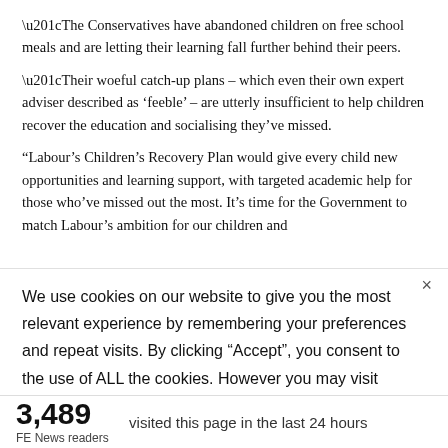“The Conservatives have abandoned children on free school meals and are letting their learning fall further behind their peers.
“Their woeful catch-up plans – which even their own expert adviser described as ‘feeble’ – are utterly insufficient to help children recover the education and socialising they’ve missed.
“Labour’s Children’s Recovery Plan would give every child new opportunities and learning support, with targeted academic help for those who’ve missed out the most. It’s time for the Government to match Labour’s ambition for our children and
We use cookies on our website to give you the most relevant experience by remembering your preferences and repeat visits. By clicking “Accept”, you consent to the use of ALL the cookies. However you may visit Cookie
3,489 visited this page in the last 24 hours
FE News readers